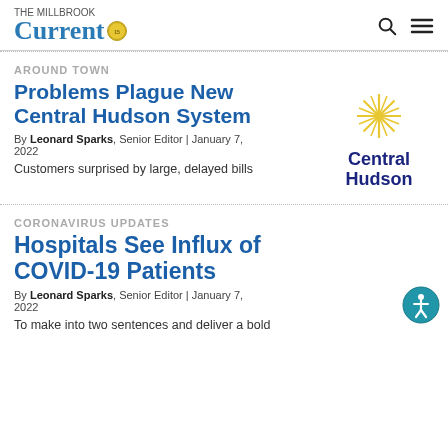The Millbrook Current — Current
AROUND TOWN
Problems Plague New Central Hudson System
By Leonard Sparks, Senior Editor | January 7, 2022
Customers surprised by large, delayed bills
[Figure (logo): Central Hudson logo with gold starburst and dark blue wordmark]
CORONAVIRUS UPDATES
Hospitals See Influx of COVID-19 Patients
By Leonard Sparks, Senior Editor | January 7, 2022
To make into two sentences and deliver a bold
[Figure (logo): Accessibility icon — blue circle with white person figure]